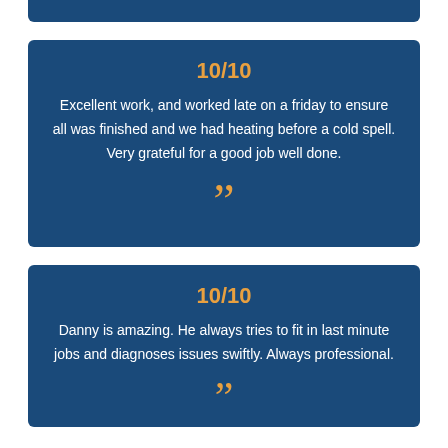10/10
Excellent work, and worked late on a friday to ensure all was finished and we had heating before a cold spell. Very grateful for a good job well done.
10/10
Danny is amazing. He always tries to fit in last minute jobs and diagnoses issues swiftly. Always professional.